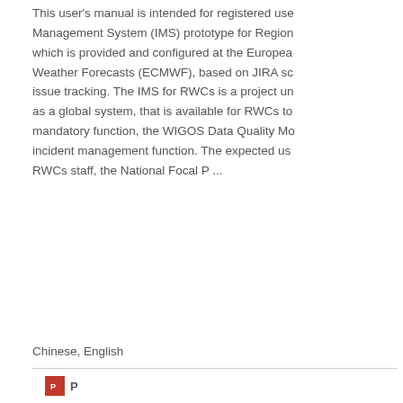This user's manual is intended for registered use... Management System (IMS) prototype for Region... which is provided and configured at the Europea... Weather Forecasts (ECMWF), based on JIRA sc... issue tracking. The IMS for RWCs is a project un... as a global system, that is available for RWCs to... mandatory function, the WIGOS Data Quality Mo... incident management function. The expected us... RWCs staff, the National Focal P ...
Chinese, English